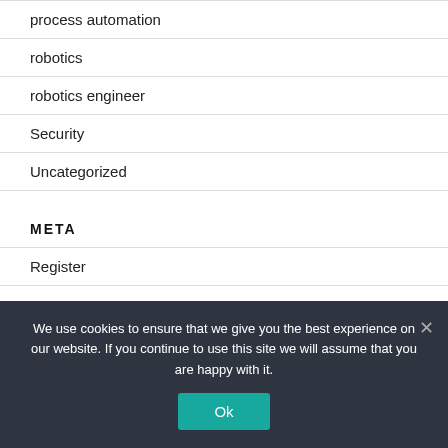process automation
robotics
robotics engineer
Security
Uncategorized
META
Register
We use cookies to ensure that we give you the best experience on our website. If you continue to use this site we will assume that you are happy with it.